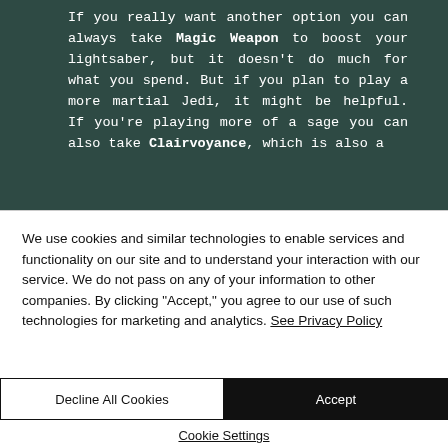[Figure (screenshot): Dark green/teal background article text excerpt about Magic Weapon and Clairvoyance in a game guide context, displayed in monospace font.]
We use cookies and similar technologies to enable services and functionality on our site and to understand your interaction with our service. We do not pass on any of your information to other companies. By clicking "Accept," you agree to our use of such technologies for marketing and analytics. See Privacy Policy
Decline All Cookies
Accept
Cookie Settings